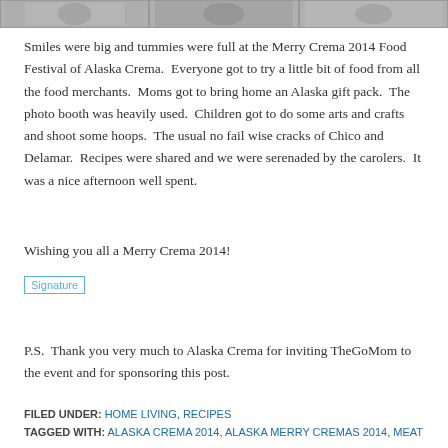[Figure (photo): Strip of three photos from the Merry Crema 2014 Food Festival event showing people at the event]
Smiles were big and tummies were full at the Merry Crema 2014 Food Festival of Alaska Crema.  Everyone got to try a little bit of food from all the food merchants.  Moms got to bring home an Alaska gift pack.  The photo booth was heavily used.  Children got to do some arts and crafts and shoot some hoops.  The usual no fail wise cracks of Chico and Delamar.  Recipes were shared and we were serenaded by the carolers.  It was a nice afternoon well spent.
Wishing you all a Merry Crema 2014!
[Figure (illustration): Signature image placeholder]
P.S.  Thank you very much to Alaska Crema for inviting TheGoMom to the event and for sponsoring this post.
FILED UNDER: HOME LIVING, RECIPES
TAGGED WITH: ALASKA CREMA 2014, ALASKA MERRY CREMAS 2014, MEAT